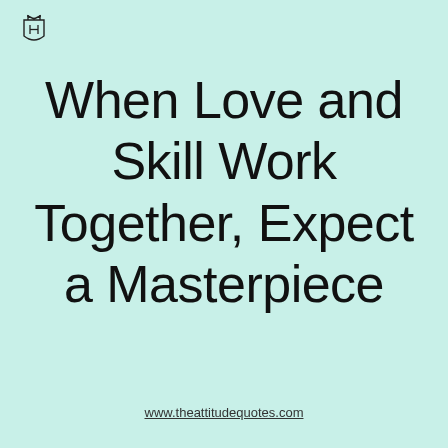[Figure (logo): Small crown/shield logo icon in top-left corner]
When Love and Skill Work Together, Expect a Masterpiece
www.theattitudequotes.com